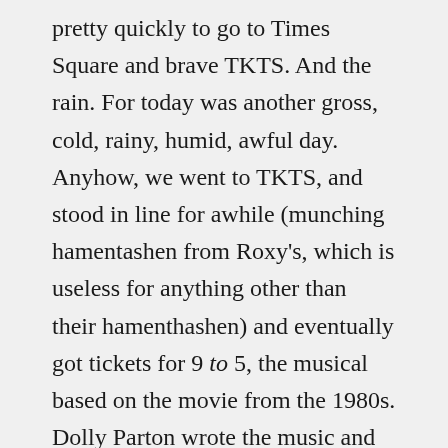pretty quickly to go to Times Square and brave TKTS.  And the rain.  For today was another gross, cold, rainy, humid, awful day.  Anyhow, we went to TKTS, and stood in line for awhile (munching hamentashen from Roxy's, which is useless for anything other than their hamenthashen) and eventually got tickets for 9 to 5, the musical based on the movie from the 1980s.  Dolly Parton wrote the music and lyrics, so how bad could it be?  Also, the cast is fun, and the creative team (Joe Mantello directed) is impressive.
After the TKTS adventure we went to Hell's Kitchen to have a real actual sit down dinner